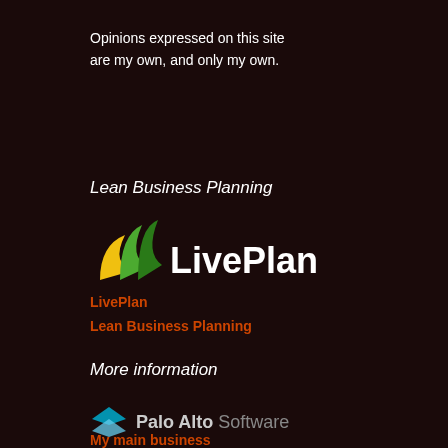Opinions expressed on this site are my own, and only my own.
Lean Business Planning
[Figure (logo): LivePlan logo with green and yellow leaf/chart icon and white text 'LivePlan']
LivePlan
Lean Business Planning
More information
[Figure (logo): Palo Alto Software logo with blue chevron/arrow icon and text 'Palo Alto Software']
My main business